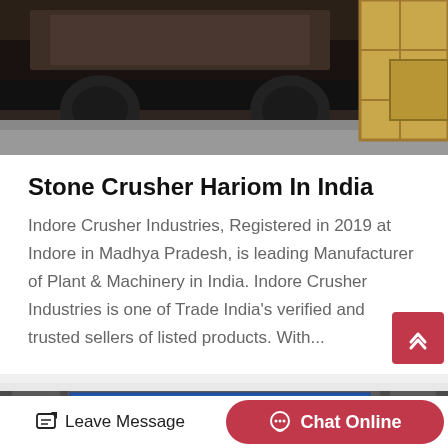[Figure (photo): Top portion of a truck or heavy machinery vehicle, partial view, dark industrial setting with wooden crate visible on right side]
Stone Crusher Hariom In India
Indore Crusher Industries, Registered in 2019 at Indore in Madhya Pradesh, is leading Manufacturer of Plant & Machinery in India. Indore Crusher Industries is one of Trade India's verified and trusted sellers of listed products. With...
[Figure (photo): Industrial machinery crusher equipment inside a factory/warehouse with Chinese banner text visible overhead]
Leave Message
Chat Online